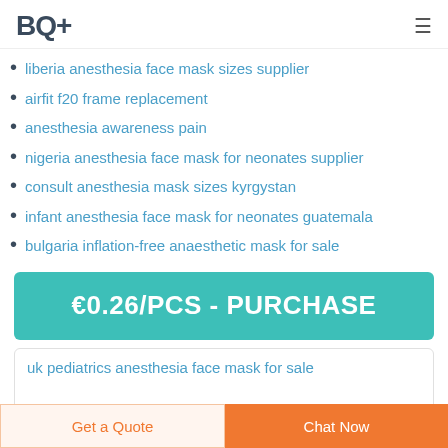BQ+
liberia anesthesia face mask sizes supplier
airfit f20 frame replacement
anesthesia awareness pain
nigeria anesthesia face mask for neonates supplier
consult anesthesia mask sizes kyrgystan
infant anesthesia face mask for neonates guatemala
bulgaria inflation-free anaesthetic mask for sale
[Figure (other): Teal purchase button reading €0.26/PCS - PURCHASE]
uk pediatrics anesthesia face mask for sale
Get a Quote | Chat Now